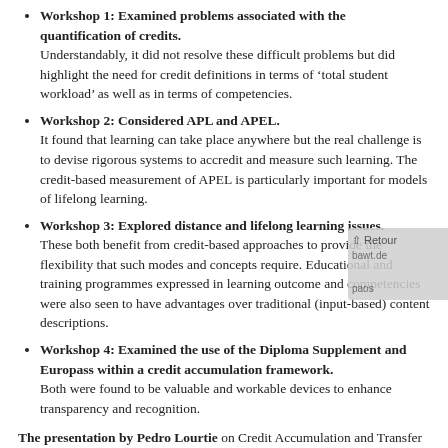Workshop 1: Examined problems associated with the quantification of credits. Understandably, it did not resolve these difficult problems but did highlight the need for credit definitions in terms of 'total student workload' as well as in terms of competencies.
Workshop 2: Considered APL and APEL. It found that learning can take place anywhere but the real challenge is to devise rigorous systems to accredit and measure such learning. The credit-based measurement of APEL is particularly important for models of lifelong learning.
Workshop 3: Explored distance and lifelong learning issues. These both benefit from credit-based approaches to provide the flexibility that such modes and concepts require. Educational and training programmes expressed in learning outcome and competencies were also seen to have advantages over traditional (input-based) content descriptions.
Workshop 4: Examined the use of the Diploma Supplement and Europass within a credit accumulation framework. Both were found to be valuable and workable devices to enhance transparency and recognition.
The presentation by Pedro Lourtie on Credit Accumulation and Transfer and the goals of the Bologna Declaration reminded the seminar participants of the importance of their work in helping solve